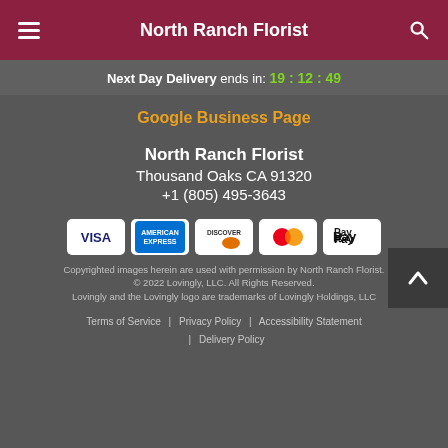North Ranch Florist
Next Day Delivery ends in: 19:12:49
Google Business Page
North Ranch Florist
Thousand Oaks CA 91320
+1 (805) 495-3643
[Figure (other): Payment method icons: Visa, American Express, Discover, Mastercard, Apple Pay]
Copyrighted images herein are used with permission by North Ranch Florist.
© 2022 Lovingly, LLC. All Rights Reserved.
Lovingly and the Lovingly logo are trademarks of Lovingly Holdings, LLC
Terms of Service  |  Privacy Policy  |  Accessibility Statement  |  Delivery Policy